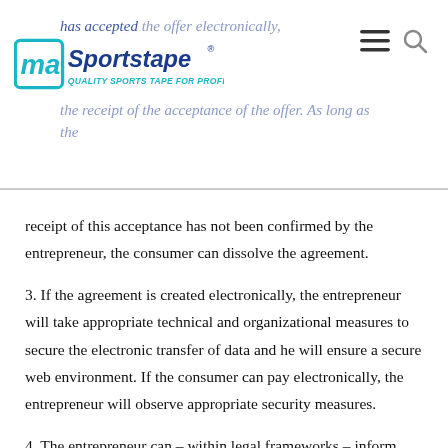MA Sportstape — Quality Sports Tape for Professionals!
receipt of this acceptance has not been confirmed by the entrepreneur, the consumer can dissolve the agreement.
3. If the agreement is created electronically, the entrepreneur will take appropriate technical and organizational measures to secure the electronic transfer of data and he will ensure a secure web environment. If the consumer can pay electronically, the entrepreneur will observe appropriate security measures.
4. The entrepreneur can – within legal frameworks – inform whether the consumer can meet his payment obligations, as well as all those facts and factors that are important for a responsible conclusion of the long-